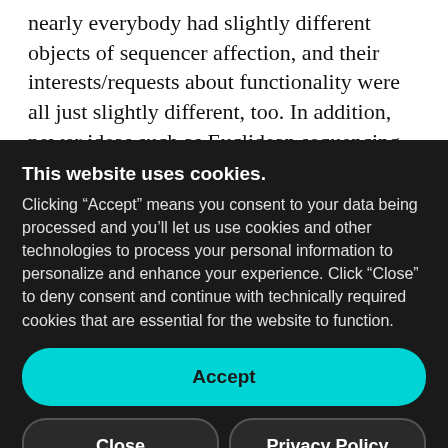nearly everybody had slightly different objects of sequencer affection, and their interests/requests about functionality were all just slightly different, too. In addition, newer ideas such as Euclidean sequencing wound up coming up, too. So the subject just seemed perfect as a Max patch to build the background. And
This website uses cookies. Clicking “Accept” means you consent to your data being processed and you’ll let us use cookies and other technologies to process your personal information to personalize and enhance your experience. Click “Close” to deny consent and continue with technically required cookies that are essential for the website to function.
Accept
Close
Privacy Policy